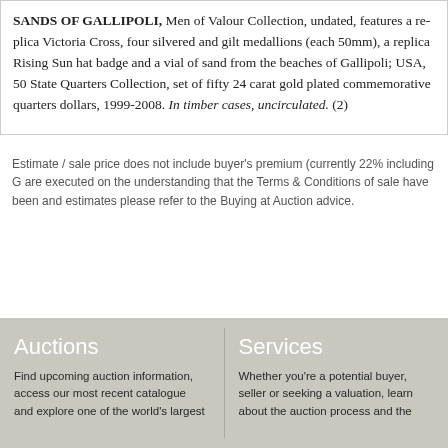SANDS OF GALLIPOLI, Men of Valour Collection, undated, features a replica Victoria Cross, four silvered and gilt medallions (each 50mm), a replica Rising Sun hat badge and a vial of sand from the beaches of Gallipoli; USA, 50 State Quarters Collection, set of fifty 24 carat gold plated commemorative quarters dollars, 1999-2008. In timber cases, uncirculated. (2)
Estimate / sale price does not include buyer's premium (currently 22% including G are executed on the understanding that the Terms & Conditions of sale have been and estimates please refer to the Buying at Auction advice.
Auctions
Find upcoming auction information, access our most recent catalogue and explore one of the world's largest
Services
Whether you're a potential buyer, seller or seeking a valuation, learn about the auction process and the